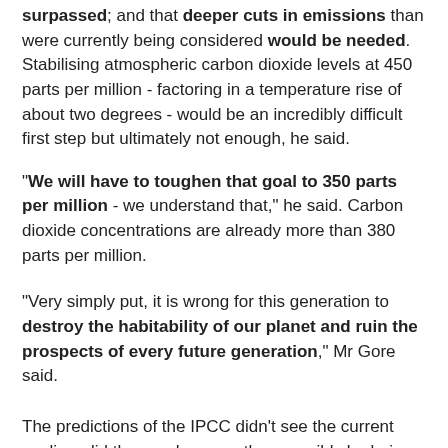surpassed; and that deeper cuts in emissions than were currently being considered would be needed. Stabilising atmospheric carbon dioxide levels at 450 parts per million - factoring in a temperature rise of about two degrees - would be an incredibly difficult first step but ultimately not enough, he said.
"We will have to toughen that goal to 350 parts per million - we understand that," he said. Carbon dioxide concentrations are already more than 380 parts per million.
"Very simply put, it is wrong for this generation to destroy the habitability of our planet and ruin the prospects of every future generation," Mr Gore said.
The predictions of the IPCC didn't see the current cooling, did they, so how can they possibly be being surpassed? More lies and deception. And no-one is actually sure what the carbon fuelled gab fest in Poznan has actually achieved